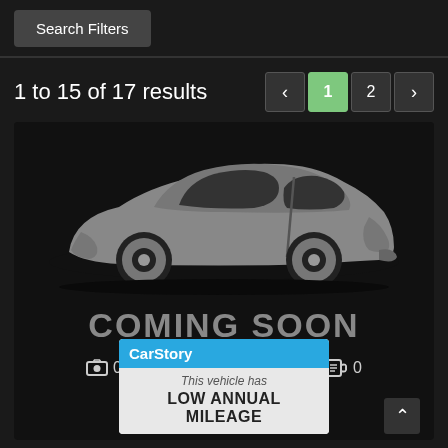[Figure (screenshot): Search Filters button — dark gray rectangular button with white text on dark background]
1 to 15 of 17 results
[Figure (screenshot): Pagination control showing left arrow, page 1 (active/green), page 2, right arrow]
[Figure (illustration): Gray car silhouette on black background with 'COMING SOON' text below, media count icons showing 0 photos, 0 videos, 0 other, and a CarStory overlay card reading 'This vehicle has LOW ANNUAL MILEAGE']
2007 BMW 3 SERIES 328I